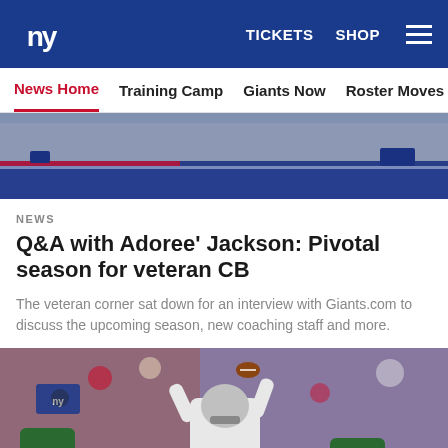New York Giants site header with logo, TICKETS, SHOP, and hamburger menu
News Home | Training Camp | Giants Now | Roster Moves | Fact o
[Figure (photo): Partial view of a football field with blue end zone and Giants branding]
NEWS
Q&A with Adoree' Jackson: Pivotal season for veteran CB
The veteran corner sat down for an interview with Giants.com to discuss the upcoming season, new coaching staff and more.
[Figure (photo): NFL player #29 in white Giants uniform jumping to make a catch, with a crowd and opposing player in green jersey in background. Giants TV logo visible top left.]